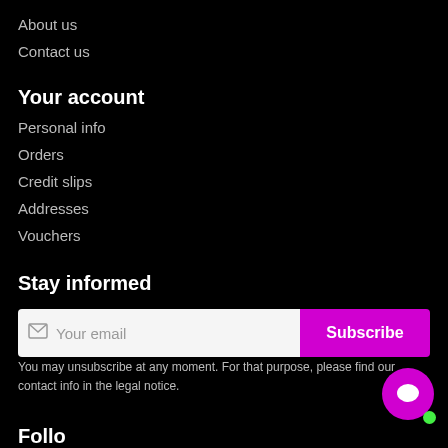About us
Contact us
Your account
Personal info
Orders
Credit slips
Addresses
Vouchers
Stay informed
Your email
Subscribe
You may unsubscribe at any moment. For that purpose, please find our contact info in the legal notice.
Follow